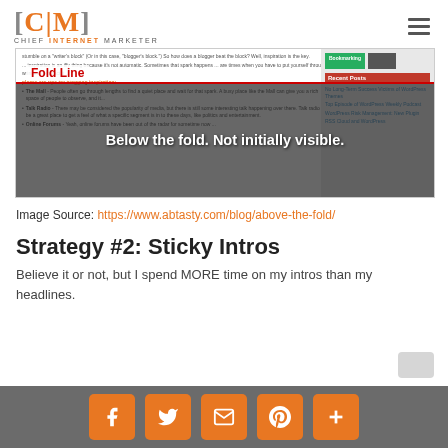CIM CHIEF INTERNET MARKETER
[Figure (screenshot): Screenshot of a blog page showing 'Fold Line' label with red bar, and overlay text 'Below the fold. Not initially visible.' on the lower portion. The page shows typical blog layout with sidebar containing Bookmarking section and Recent Posts.]
Image Source: https://www.abtasty.com/blog/above-the-fold/
Strategy #2: Sticky Intros
Believe it or not, but I spend MORE time on my intros than my headlines.
Social sharing buttons: Facebook, Twitter, Email, Pinterest, More